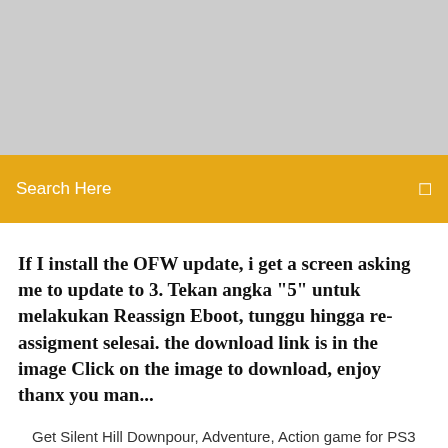[Figure (other): Gray placeholder banner image area]
Search Here
If I install the OFW update, i get a screen asking me to update to 3. Tekan angka "5" untuk melakukan Reassign Eboot, tunggu hingga re-assigment selesai. the download link is in the image Click on the image to download, enjoy thanx you man...
Get Silent Hill Downpour, Adventure, Action game for PS3 console from the official PlayStation® website. Know more about Silent Hill